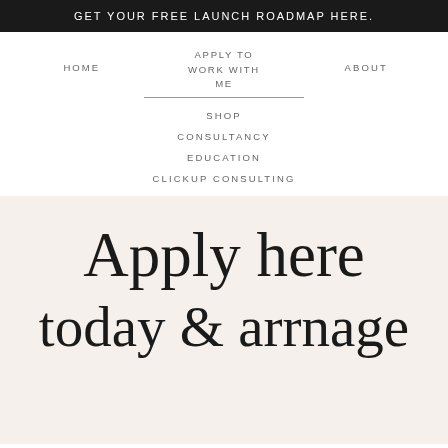GET YOUR FREE LAUNCH ROADMAP HERE.
HOME
APPLY TO WORK WITH ME
ABOUT
SHOP
CONSULTANCY
EDUCATION
CLICKUP CONSULTING
Apply here today & arrnage